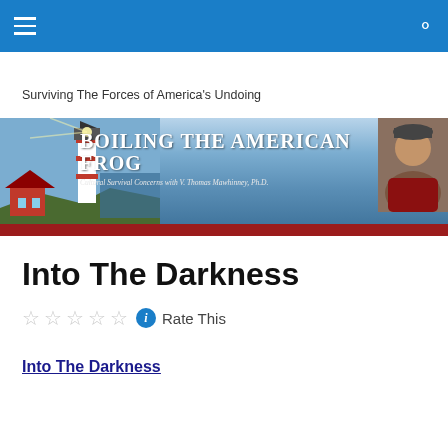Surviving The Forces of America's Undoing
[Figure (illustration): Boiling The American Frog banner with lighthouse, ocean background, title text 'BOILING THE AMERICAN FROG', subtitle 'Cultural Survival Concerns with V. Thomas Mawhinney, Ph.D.', red bar at bottom, and portrait photo on right]
Into The Darkness
Rate This
Into The Darkness